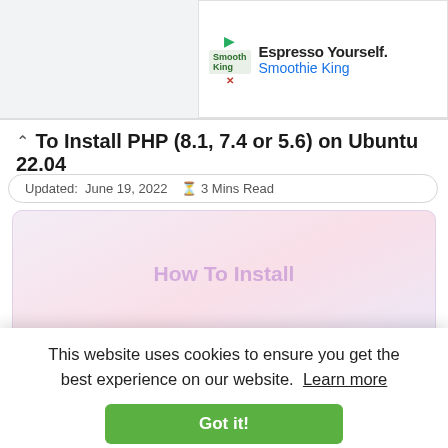[Figure (screenshot): Ad banner for Smoothie King with play icon, logo, headline 'Espresso Yourself.' and subtext 'Smoothie King']
How To Install PHP (8.1, 7.4 or 5.6) on Ubuntu 22.04
Updated: June 19, 2022  ⏱ 3 Mins Read
[Figure (illustration): Article decorative image with text 'How To Install' on a pink/purple gradient background]
This website uses cookies to ensure you get the best experience on our website.  Learn more
Got it!
How To Install Linux, Nginx, MySQL & PHP (LEMP...